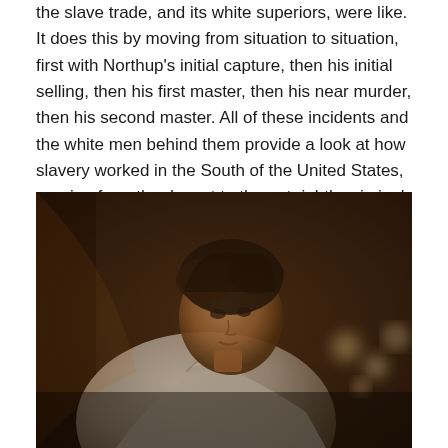the slave trade, and its white superiors, were like. It does this by moving from situation to situation, first with Northup's initial capture, then his initial selling, then his first master, then his near murder, then his second master. All of these incidents and the white men behind them provide a look at how slavery worked in the South of the United States, ranging from the decent to the out rightly criminal.
[Figure (photo): A man wearing a white shirt leaning forward, photographed in a dark, warmly lit interior setting with bokeh lights visible in the background. The image has a sepia/warm tone cinematic look, appearing to be a still from a film.]